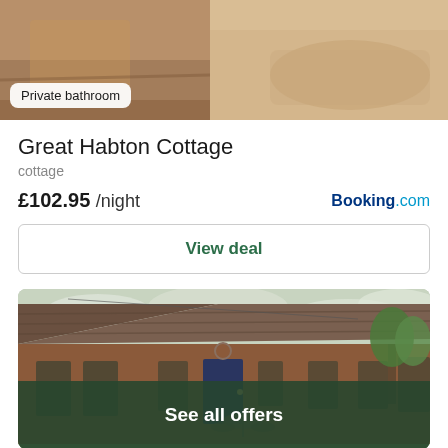[Figure (photo): Top section showing two accommodation photos side by side: left photo shows a wooden bathroom interior, right photo shows a bathtub. A badge reading 'Private bathroom' is overlaid on the left photo.]
Private bathroom
Great Habton Cottage
cottage
£102.95 /night
Booking.com
View deal
[Figure (photo): Exterior photo of Great Habton Cottage showing a single-storey brick building with tiled roof, windows, a blue door, outdoor furniture, and trees in background under cloudy sky.]
See all offers